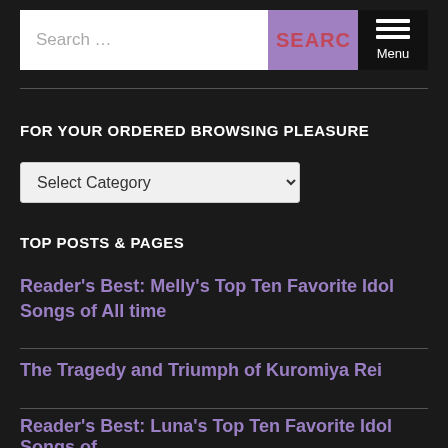Search ...  SEARCH  Menu
FOR YOUR ORDERED BROWSING PLEASURE
Select Category
TOP POSTS & PAGES
Reader's Best: Melly's Top Ten Favorite Idol Songs of All time
The Tragedy and Triumph of Kuromiya Rei
Reader's Best: Luna's Top Ten Favorite Idol Songs of